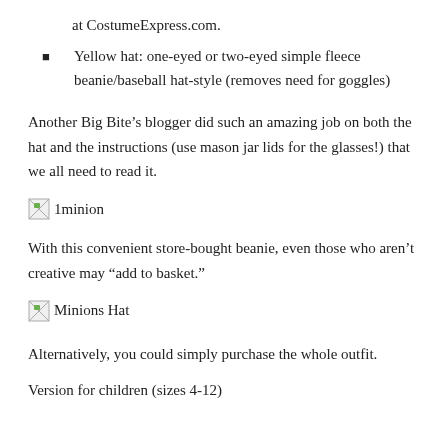at CostumeExpress.com.
Yellow hat: one-eyed or two-eyed simple fleece beanie/baseball hat-style (removes need for goggles)
Another Big Bite’s blogger did such an amazing job on both the hat and the instructions (use mason jar lids for the glasses!) that we all need to read it.
[Figure (illustration): Small broken image icon with label '1minion']
With this convenient store-bought beanie, even those who aren’t creative may “add to basket.”
[Figure (illustration): Small broken image icon with label 'Minions Hat']
Alternatively, you could simply purchase the whole outfit.
Version for children (sizes 4-12)